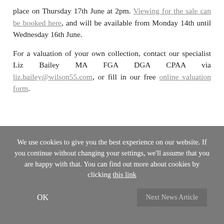place on Thursday 17th June at 2pm. Viewing for the sale can be booked here, and will be available from Monday 14th until Wednesday 16th June.
For a valuation of your own collection, contact our specialist Liz Bailey MA FGA DGA CPAA via liz.bailey@wilson55.com, or fill in our free online valuation form.
We use cookies to give you the best experience on our website. If you continue without changing your settings, we'll assume that you are happy with that. You can find out more about cookies by clicking this link
OK
Next News Article